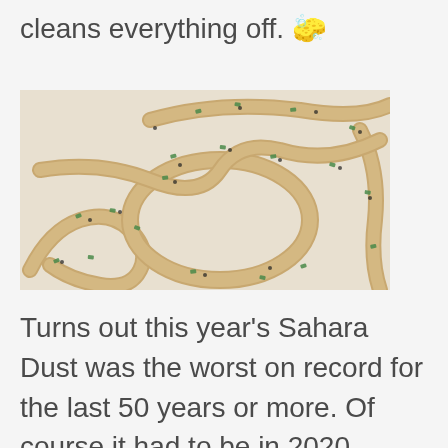cleans everything off. 🧽
[Figure (photo): Close-up photograph of coiled beige/tan rope with green and black flecks/markings, arranged in loops on a white surface.]
Turns out this year's Sahara Dust was the worst on record for the last 50 years or more. Of course it had to be in 2020, haha. As bad as the Sahara